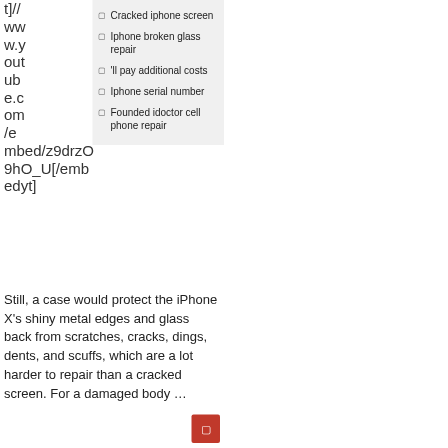t]//www.youtube.com/embed/z9drzO9hO_U[/embedyt]
Cracked iphone screen
Iphone broken glass repair
'll pay additional costs
Iphone serial number
Founded idoctor cell phone repair
Still, a case would protect the iPhone X's shiny metal edges and glass back from scratches, cracks, dings, dents, and scuffs, which are a lot harder to repair than a cracked screen. For a damaged body ...
Did the glass crack on your iPhone? Read about my cracked iphone screen below and